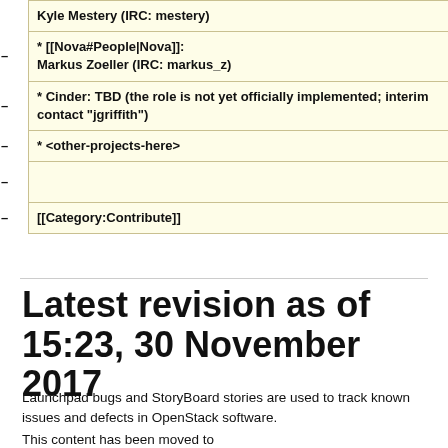| Kyle Mestery (IRC: mestery) |
| * [[Nova#People|Nova]]: –Markus Zoeller (IRC: markus_z) |
| * Cinder: TBD (the role is not yet officially implemented; interim contact "jgriffith") |
| –* <other-projects-here> |
| – |
| –[[Category:Contribute]] |
Latest revision as of 15:23, 30 November 2017
Launchpad bugs and StoryBoard stories are used to track known issues and defects in OpenStack software.
This content has been moved to